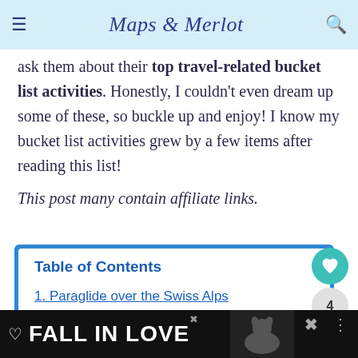Maps & Merlot
ask them about their top travel-related bucket list activities. Honestly, I couldn't even dream up some of these, so buckle up and enjoy! I know my bucket list activities grew by a few items after reading this list!
This post many contain affiliate links.
Table of Contents
1. Paraglide over the Swiss Alps
[Figure (screenshot): Ad banner at bottom: FALL IN LOVE with dog image and close buttons]